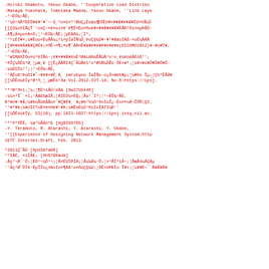-Hiroki Okamoto, Yasuo Okabe, ''Cooperative Load Distribu
-Masaya Yokohata, Tomotaka Maeda, Yasuo Okabe, ''Link Laye
-²¬ÉÔ¾÷ÃÉ,
''¼Ò²ñÅªÉÉÔ¥ê¥¹¥¯¬·Ú¸ºo¤ò»º³ØoÇ¿Êoáo룼ÔÊô¥»¥¥å¥ê¥Æ¥ÉU»½Ñ¼Ò
[[Ç§¾±ñÏÃçŤ´¹oòÇ÷¤ë¤oi¤ë´ë¶Ê¤Ëo¤ñoë¥»¥¥å¥ê¥Æ¥ÉÃÐºÖï¤nµÞÃÔ:
-À¶¿å¤µo¤ã»Ò¡¦²¬ÉÔ¾÷ÃÉ¡¦µÉÁÄ¾¡¦Ïº,
''ºïÈÌ¥«¡¼¥Éoo»ÈoÃÃo¿ºï»pÍøÎÑ¼Ô¸ÞoÇ§¾Ú¥·¥¹¥ÆàoÏÀß·×oÈ¼ÃÂÃ
[[¥Þ¥ë¥Á¥å¥Ç¥É¢¡¤ñÊ¬»¶¡¤o¶¯ÄÀ¤Ë¥â¥Þ¥ë¥Þ¥ë¥ë¥ë(DICOMO2012)¥·¥ó¥Ý¥,
-²¬ÉÔ¾÷ÃÉ,
''WIMAXÌÖo¤ò³êÍÑo·¡¢¥»¥¥å¥¢oÈ³ØâLANoÊÃÜÃ³o¹o¸ë¼êoêÁÉoß'',
¹ñÎÇ¼ÔÉô³Ø¸¦µæ¸ê [[Ê¿ÁÅ®24Ç¯ÃÙÂê1²ó³Ø½Ñ¼ÔÊó´ÔÈ×¥ª¡¦¼¥×¥ó¥Ô¥Ô¥Ô¥Ô:
-¼¼ÉÜÏ¼²°¡¦²¬ÉÔ¾÷ÃÉ,
''ÁÉoß¹ÞoßI¥¯¬¥ê¥×¥Ë¸À¸ imrubyoo ÎøÎÑo·o¿Ö×Web¥µ¡¦¼¥Þo Îµ¡¦Ç½³ÊÃÀ¥
[[¼ÔÊó¼êÍý³Ø²ñ¸¦¸µæÊó¹ðø Vol.2012-IOT-18, No.6:https://ipsj.
**³Ø²ñ»ï¡¦¼¡¦¶È»ïÅÙ²òÀâ [#w37b5446]
-¼¼»³Î¯´»ï¡²ÃÆ£¾æÏÃ¡¦ÁÍËÜ¼»Éǧ¡¦Ão¹¯Ïº¡¦²¬ÉÔ¾÷ÃÉ,
¥³¥ó¥·¥å¡¼¥ÞoÃÙêÃÃo¤¯¥Ç¥É¥¸ ¥¿¥ë²½¼Ò²ñoÏoÎ¿·Ëo¤¤oÄ¬ÎÔ®¡§2.
''¥º¥ê¡¼¥óÌCToÊ¤ë¤ñë¥¹¥Þ¡¼¥ÊoÈ¼Ò²ñoÏoÎÁÍÏ¼Ð''
[[¼ÔÊó¼êÍý, 53(10), pp.1021-1027:https://ipsj.ixsq.nii.ac.
**¹ñºÝÉÉ, ¼à²½ÃÄóº£ [#g9288765]
-Y. Teramoto, R. Atarashi, Y. Atarashi, Y. Okabe,
''[[Experience of Designing Network Management System:http
IETF Internet-Draft, Feb. 2013.
*2011Ç¯ÃÙ [#pd397a06]
**ÏÁÉ, »ïÏÁÉ, [#h5796ada]
-Ãç²¬Á¯´Ô¡¦ÉÒ²¬¼Ô¹¬¡¦Ã«ÉÜÏÐÏÀ¡¦Ã¼¾Ä¼·Ô¡¦»³ÃÏºïÃ÷¡¦ÃæÅü¼ÁÇÁµ
''Ãç³Ø¯ÖÏ¢·ÉpÎÎo¿¤áoÏo¤¶ÅÁ¹o¤ñoÇ§¾Ú¡¦ÔÊ×UPKÌo Î¥×¡¦¼¥¥É¬¯´Ã¥Ã¥Ã¥